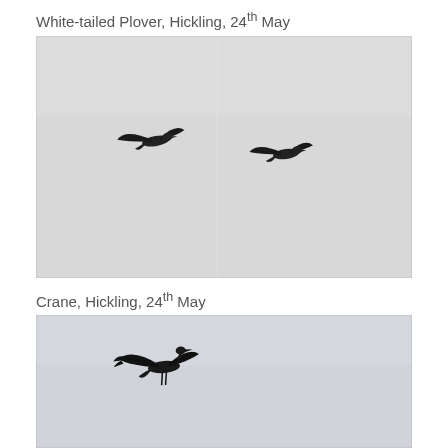White-tailed Plover, Hickling, 24th May
[Figure (photo): Two birds in flight against a pale grey sky, photographed at Hickling on 24th May. The birds appear dark/black in silhouette with wings spread.]
Crane, Hickling, 24th May
[Figure (photo): A single bird in flight against a pale grey-blue sky, photographed at Hickling on 24th May. The bird appears as a dark silhouette with wings spread.]